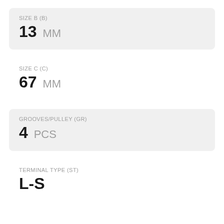SIZE B (B)
13 MM
SIZE C (C)
67 MM
GROOVES/PULLEY (GR)
4 PCS
TERMINAL TYPE (ST)
L-S